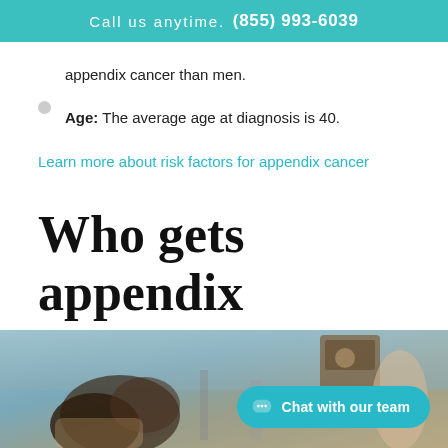Call us anytime. (855) 993-6039
appendix cancer than men.
Age: The average age at diagnosis is 40.
Learn more about risk factors for appendix cancer
Who gets appendix cancer?
[Figure (photo): Photo of two people in a hospital or care setting, one appearing to be a patient and one a caregiver or family member, with medical equipment visible in the background.]
Chat with our team